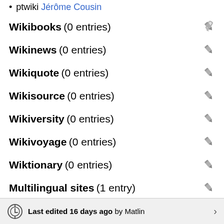ptwiki Jérôme Cousin
Wikibooks  (0 entries)
Wikinews  (0 entries)
Wikiquote  (0 entries)
Wikisource  (0 entries)
Wikiversity  (0 entries)
Wikivoyage  (0 entries)
Wiktionary  (0 entries)
Multilingual sites  (1 entry)
commonswiki Category:Jérôme Cousin
Last edited 16 days ago by Matlin